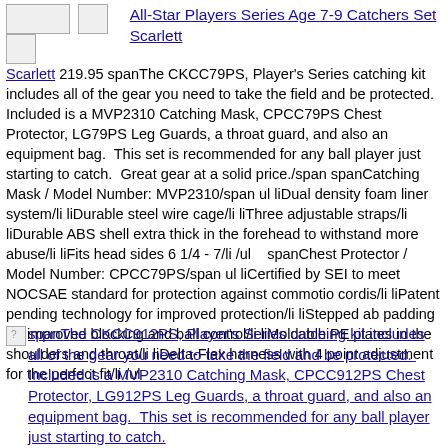[Figure (photo): Small product thumbnail images of catcher's equipment]
All-Star Players Series Age 7-9 Catchers Set Scarlett 219.95 spanThe CKCC79PS, Player's Series catching kit includes all of the gear you need to take the field and be protected. Included is a MVP2310 Catching Mask, CPCC79PS Chest Protector, LG79PS Leg Guards, a throat guard, and also an equipment bag. This set is recommended for any ball player just starting to catch. Great gear at a solid price./span spanCatching Mask / Model Number: MVP2310/span ul liDual density foam liner system/li liDurable steel wire cage/li liThree adjustable straps/li liDurable ABS shell extra thick in the forehead to withstand more abuse/li liFits head sides 6 1/4 - 7/li /ul spanChest Protector / Model Number: CPCC79PS/span ul liCertified by SEI to meet NOCSAE standard for protection against commotio cordis/li liPatent pending technology for improved protection/li liStepped ab padding for improved blocking and ball control/li liMoldable PE plates in the shoulders and throat/li liDelta-Flex harness with 4 point adjustment for the perfect fit/li /ul
[Figure (photo): Broken/missing image icon for CKCC912PS product]
spanThe CKCC912PS, Player's Series catching kit includes all of the gear you need to take the field and be protected. Included is a MVP2310 Catching Mask, CPCC912PS Chest Protector, LG912PS Leg Guards, a throat guard, and also an equipment bag. This set is recommended for any ball player just starting to catch.